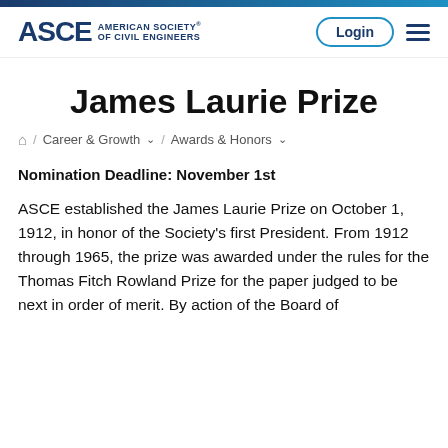ASCE American Society of Civil Engineers — Login
James Laurie Prize
🏠 / Career & Growth ∨ / Awards & Honors ∨
Nomination Deadline: November 1st
ASCE established the James Laurie Prize on October 1, 1912, in honor of the Society's first President. From 1912 through 1965, the prize was awarded under the rules for the Thomas Fitch Rowland Prize for the paper judged to be next in order of merit. By action of the Board of